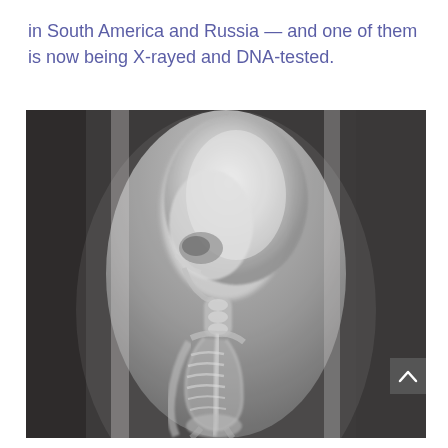in South America and Russia — and one of them is now being X-rayed and DNA-tested.
[Figure (photo): X-ray image of a small skeletal figure with an unusually large elongated skull, narrow ribcage, and thin limbs, displayed against a cylindrical container background. The skeleton appears humanoid but with anomalous proportions.]